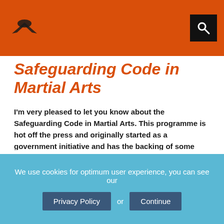[Logo and navigation header with search icon]
Safeguarding Code in Martial Arts
I'm very pleased to let you know about the Safeguarding Code in Martial Arts. This programme is hot off the press and originally started as a government initiative and has the backing of some prestigious organisations including Sport England. As you'll read, one tremendous benefit will be the ability to display the Safeguarding Code in Martial Arts 'kite mark.' Have a read, go to the website and get stuck in.
The Safeguarding Code in Martial Arts recognises clubs or providers in England who have reached and maintain
We use cookies for optimum user experience, you can see our Privacy Policy or Continue